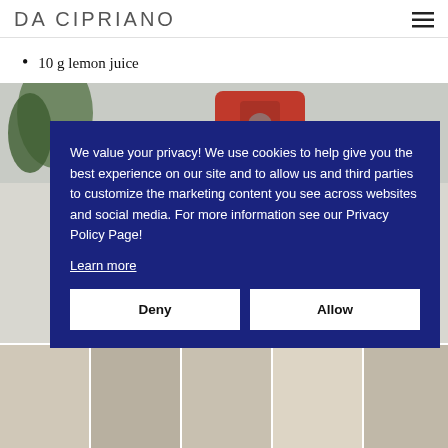DA CIPRIANO
10 g lemon juice
[Figure (photo): Kitchen scene with red stand mixer and food preparation items; food photo strip at bottom showing various dishes]
We value your privacy! We use cookies to help give you the best experience on our site and to allow us and third parties to customize the marketing content you see across websites and social media. For more information see our Privacy Policy Page!
Learn more
Deny    Allow